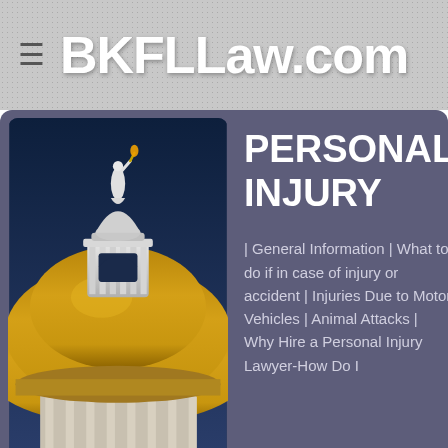BKFLLaw.com
PERSONAL INJURY
| General Information | What to do if in case of injury or accident | Injuries Due to Motor Vehicles | Animal Attacks | Why Hire a Personal Injury Lawyer-How Do I
[Figure (photo): Upward angle photo of a government building dome topped with a golden cupola and a white classical statue holding a torch against a blue sky.]